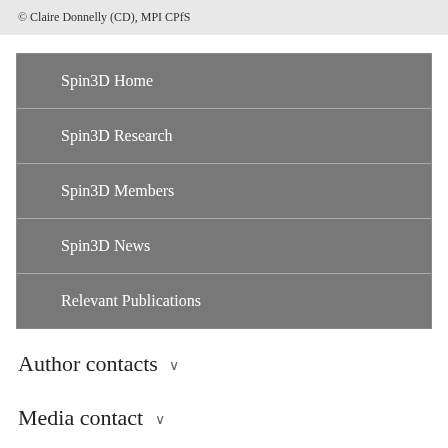© Claire Donnelly (CD), MPI CPfS
Spin3D Home
Spin3D Research
Spin3D Members
Spin3D News
Relevant Publications
Author contacts
Media contact